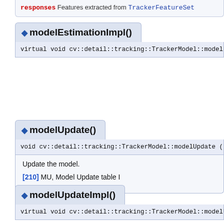responses Features extracted from TrackerFeatureSet
modelEstimationImpl()
virtual void cv::detail::tracking::TrackerModel::modelEstimationImpl (
modelUpdate()
void cv::detail::tracking::TrackerModel::modelUpdate ( )
Update the model.
[210] MU, Model Update table I
modelUpdateImpl()
virtual void cv::detail::tracking::TrackerModel::modelUpdateImpl (